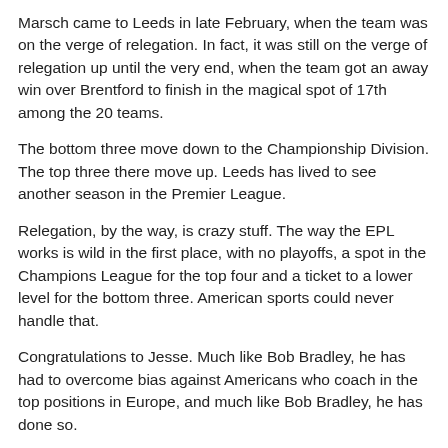Marsch came to Leeds in late February, when the team was on the verge of relegation. In fact, it was still on the verge of relegation up until the very end, when the team got an away win over Brentford to finish in the magical spot of 17th among the 20 teams.
The bottom three move down to the Championship Division. The top three there move up. Leeds has lived to see another season in the Premier League.
Relegation, by the way, is crazy stuff. The way the EPL works is wild in the first place, with no playoffs, a spot in the Champions League for the top four and a ticket to a lower level for the bottom three. American sports could never handle that.
Congratulations to Jesse. Much like Bob Bradley, he has had to overcome bias against Americans who coach in the top positions in Europe, and much like Bob Bradley, he has done so.
As TigerBlog said, very few Princetonians had more fun this weekend than Jesse. The women rowers of Princeton were